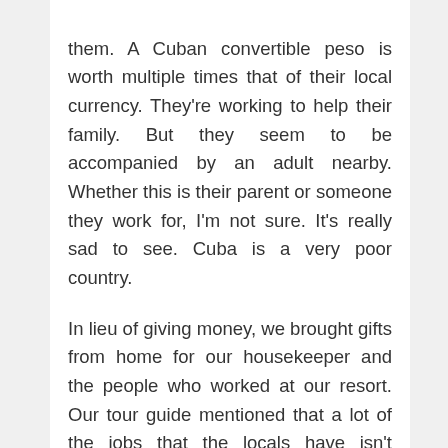them. A Cuban convertible peso is worth multiple times that of their local currency. They're working to help their family. But they seem to be accompanied by an adult nearby. Whether this is their parent or someone they work for, I'm not sure. It's really sad to see. Cuba is a very poor country.

In lieu of giving money, we brought gifts from home for our housekeeper and the people who worked at our resort. Our tour guide mentioned that a lot of the jobs that the locals have isn't enough to pay the bills, so they work two full-time jobs. And having a job on the resort is a big